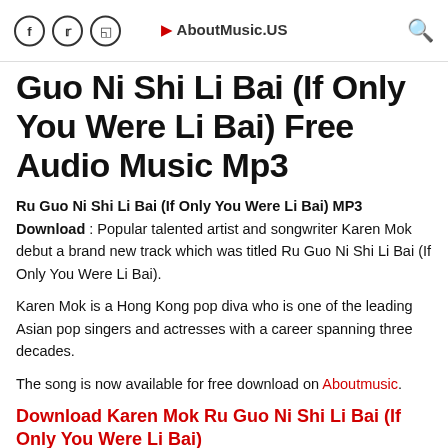f  twitter  instagram  ▶ AboutMusic.US  🔍
Guo Ni Shi Li Bai (If Only You Were Li Bai) Free Audio Music Mp3
Ru Guo Ni Shi Li Bai (If Only You Were Li Bai) MP3 Download : Popular talented artist and songwriter Karen Mok debut a brand new track which was titled Ru Guo Ni Shi Li Bai (If Only You Were Li Bai).
Karen Mok is a Hong Kong pop diva who is one of the leading Asian pop singers and actresses with a career spanning three decades.
The song is now available for free download on Aboutmusic.
Download Karen Mok Ru Guo Ni Shi Li Bai (If Only You Were Li Bai)
Download Ru Guo Ni Shi Li Bai (If Only You Were Li Bai)